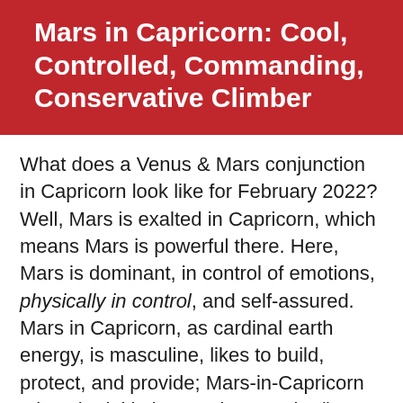Mars in Capricorn: Cool, Controlled, Commanding, Conservative Climber
What does a Venus & Mars conjunction in Capricorn look like for February 2022? Well, Mars is exalted in Capricorn, which means Mars is powerful there. Here, Mars is dominant, in control of emotions, physically in control, and self-assured. Mars in Capricorn, as cardinal earth energy, is masculine, likes to build, protect, and provide; Mars-in-Capricorn takes the initiative, seeks security (but prefers